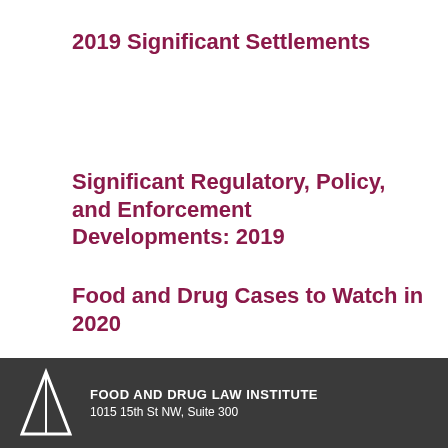2019 Significant Settlements
Significant Regulatory, Policy, and Enforcement Developments: 2019
Food and Drug Cases to Watch in 2020
FOOD AND DRUG LAW INSTITUTE
1015 15th St NW, Suite 300